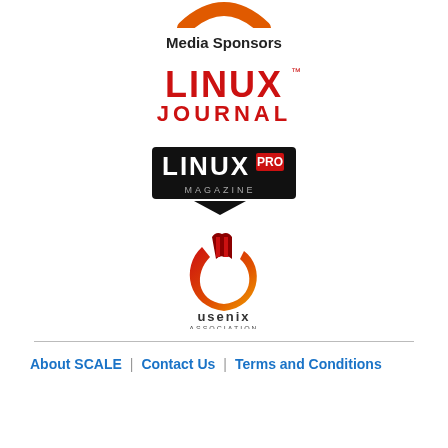[Figure (logo): Partial orange logo at top (SCALE conference logo, cropped)]
Media Sponsors
[Figure (logo): Linux Journal logo in red text]
[Figure (logo): Linux Pro Magazine logo with black badge design]
[Figure (logo): USENIX Association logo with colorful swoosh icon]
About SCALE | Contact Us | Terms and Conditions